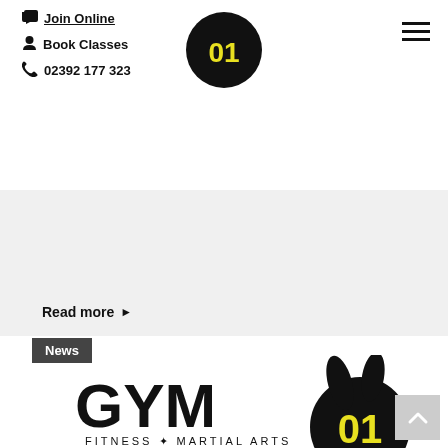Join Online  Book Classes  02392 177 323
[Figure (logo): Gym01 circular logo in header - black circle with yellow 01 text]
Read more ▶
News
[Figure (logo): GYM01 FITNESS + MARTIAL ARTS logo with bunny/mascot character - black and yellow]